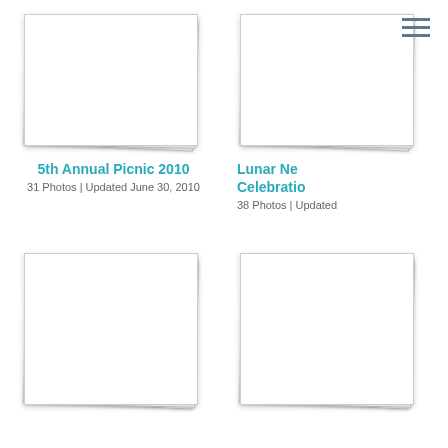[Figure (illustration): Hamburger/menu icon with three horizontal lines, top right corner]
[Figure (photo): Stacked photo album thumbnail for 5th Annual Picnic 2010]
5th Annual Picnic 2010
31 Photos | Updated June 30, 2010
[Figure (photo): Stacked photo album thumbnail for Lunar New Year Celebration, partially cropped on right]
Lunar New Year Celebration
38 Photos | Updated
[Figure (photo): Stacked photo album thumbnail, bottom left, partially cropped at bottom]
[Figure (photo): Stacked photo album thumbnail, bottom right, partially cropped at bottom and right]